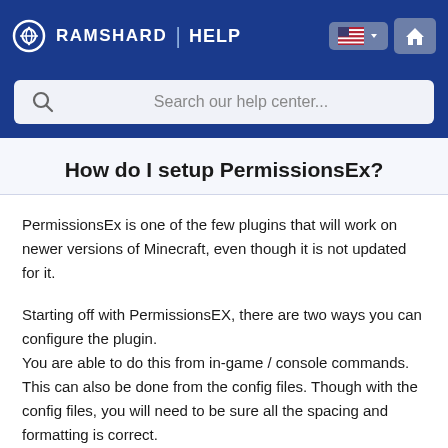RAMSHARD | HELP
[Figure (screenshot): Search bar with placeholder text 'Search our help center...']
How do I setup PermissionsEx?
PermissionsEx is one of the few plugins that will work on newer versions of Minecraft, even though it is not updated for it.
Starting off with PermissionsEX, there are two ways you can configure the plugin.
You are able to do this from in-game / console commands.
This can also be done from the config files. Though with the config files, you will need to be sure all the spacing and formatting is correct.
Configuring the plugin from in-game or from the console will